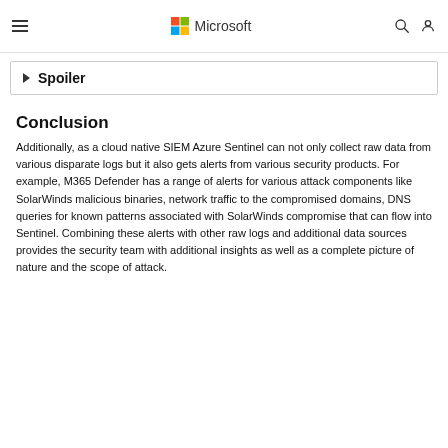Microsoft
Spoiler
Conclusion
Additionally, as a cloud native SIEM Azure Sentinel can not only collect raw data from various disparate logs but it also gets alerts from various security products. For example, M365 Defender has a range of alerts for various attack components like SolarWinds malicious binaries, network traffic to the compromised domains, DNS queries for known patterns associated with SolarWinds compromise that can flow into Sentinel. Combining these alerts with other raw logs and additional data sources provides the security team with additional insights as well as a complete picture of nature and the scope of attack.